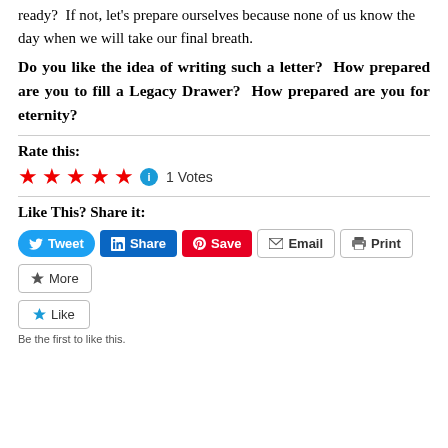ready?  If not, let's prepare ourselves because none of us know the day when we will take our final breath.
Do you like the idea of writing such a letter?  How prepared are you to fill a Legacy Drawer?  How prepared are you for eternity?
Rate this:
[Figure (other): Five red stars rating widget with info icon, showing 1 Votes]
Like This? Share it:
[Figure (other): Social share buttons: Tweet, Share (LinkedIn), Save (Pinterest), Email, Print, More]
[Figure (other): Like button with star icon]
Be the first to like this.